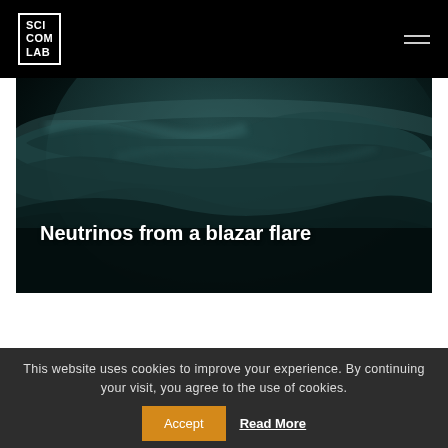SCI COM LAB
[Figure (illustration): Hero image showing a dark space/cosmic scene with cloud-like nebula or planetary atmosphere in teal/dark green tones. Text overlay reads 'Neutrinos from a blazar flare']
Neutrinos from a blazar flare
This website uses cookies to improve your experience. By continuing your visit, you agree to the use of cookies.   Accept   Read More